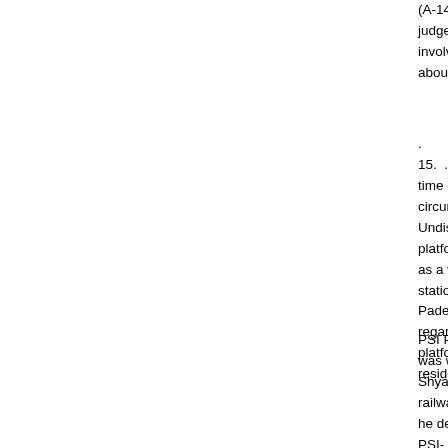(A-14 to A-17) and PSI Padekar. It was submitted that the learned judge failed to appreciate that for some years PSI Padekar was involved in similar illegal activities and was, therefore, well-informed about the relations of police with the gangs of B.
15. . The learned counset for the appellants submitted that the time of recording the FIR was not correctly mentioned and this circumstance Indicating dishonesty of the police officer. Undisputedly murder of Suresh took place on Naiasopara railway platform at about 10.30 A.M. P.W.80, Sridhar T., who was working as a writer constable under PI Berge at the Natasopara police station, 27 has stated PI Berge was absent and, therefore, PSI Padekar was in-charge of the poUce station. On receiving the message regarding murder of Suresh he had accompanied PSI Padekar to platform No. 2 of Naiasopara railway station and then to the residence of Dube brothers.
PSI Padekar had questioned Shyam Sunder and the complaint was written down by him and that writing was thereafter signed by Shyam Sunder.'-' The said complaint was then sent to Natasopara railway police station for registration. 'In his cross-examination he denied this version and stated that on 9.10.1991 he had gone to PSI- Padekar at Natasopara bysending a message. It was proved that in his police 'statement dated 15.5.1994 he had stated after receiving the wireless message he had gone there and further that he had reached there at 2.00 P.M. The murder took place at Naiasopara railway platform at abut 10.30 A.M. Natasopara police station is 6t a considerable distance and as deposed by the evidence of police constable 'RaJendra Panjawant .